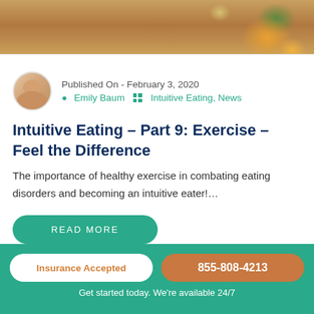[Figure (photo): Hero image of healthy food items on a wooden surface including avocado, orange, and granola bar with a heart shape]
Published On - February 3, 2020
Emily Baum   Intuitive Eating, News
Intuitive Eating – Part 9: Exercise – Feel the Difference
The importance of healthy exercise in combating eating disorders and becoming an intuitive eater!…
READ MORE
Insurance Accepted
855-808-4213
Get started today. We're available 24/7